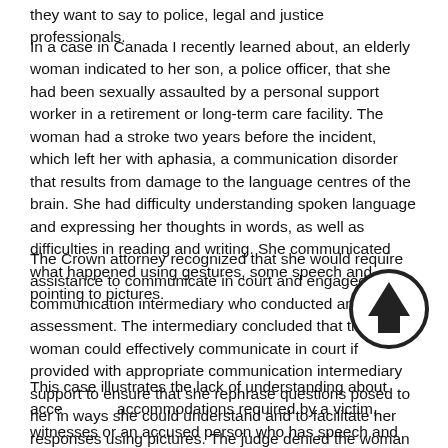they want to say to police, legal and justice professionals.
In a case in Canada I recently learned about, an elderly woman indicated to her son, a police officer, that she had been sexually assaulted by a personal support worker in a retirement or long-term care facility. The woman had a stroke two years before the incident, which left her with aphasia, a communication disorder that results from damage to the language centres of the brain. She had difficulty understanding spoken language and expressing her thoughts in words, as well as difficulties in reading and writing. She communicated what happened using gestures, some speech and pointing to pictures.
The Crown attorney recognized that she would require assistance to communicate in court and engaged a communication intermediary who conducted an assessment. The intermediary concluded that the woman could effectively communicate in court if provided with appropriate communication intermediary support to ensure that she rephrase questions posed to her in ways she could understand and to facilitate her responses using pictures. The judge denied the woman access to the communication support that she required to testify.
This case illustrates the lack of understanding about accessibility accommodations required by a victim, witnesses or an accused person who has speech and language disability.